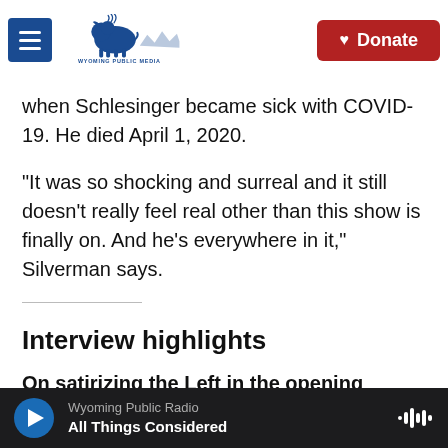Wyoming Public Media | Donate
when Schlesinger became sick with COVID-19. He died April 1, 2020.
"It was so shocking and surreal and it still doesn't really feel real other than this show is finally on. And he's everywhere in it," Silverman says.
Interview highlights
On satirizing the Left in the opening musical number in her Hulu series, I Love You, America
Wyoming Public Radio | All Things Considered